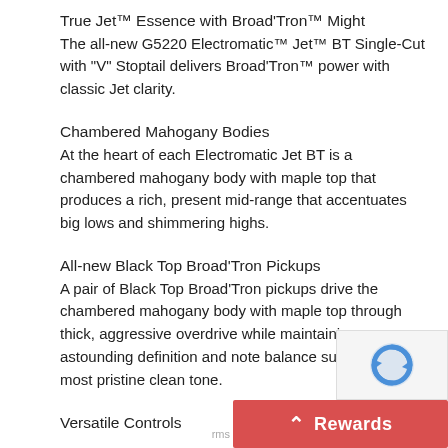True Jet™ Essence with Broad'Tron™ Might
The all-new G5220 Electromatic™ Jet™ BT Single-Cut with "V" Stoptail delivers Broad'Tron™ power with classic Jet clarity.
Chambered Mahogany Bodies
At the heart of each Electromatic Jet BT is a chambered mahogany body with maple top that produces a rich, present mid-range that accentuates big lows and shimmering highs.
All-new Black Top Broad'Tron Pickups
A pair of Black Top Broad'Tron pickups drive the chambered mahogany body with maple top through thick, aggressive overdrive while maintaining astounding definition and note balance suitable for the most pristine clean tone.
Versatile Controls